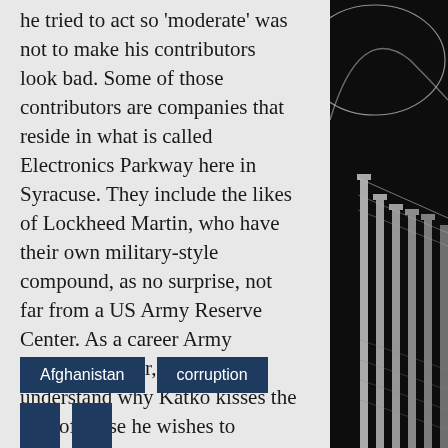he tried to act so 'moderate' was not to make his contributors look bad. Some of those contributors are companies that reside in what is called Electronics Parkway here in Syracuse. They include the likes of Lockheed Martin, who have their own military-style compound, as no surprise, not far from a US Army Reserve Center. As a career Army Finance Officer, I more than understand why Katko kisses the ring of those he wishes to regulate. He is the Ranking Member of the House Homeland Security Committee, and should not be double-dealing with those he is sworn to have oversight."
[Figure (photo): Photograph of the US Capitol building rotunda columns, in black and white, shown on the right side of the page]
Afghanistan
corruption